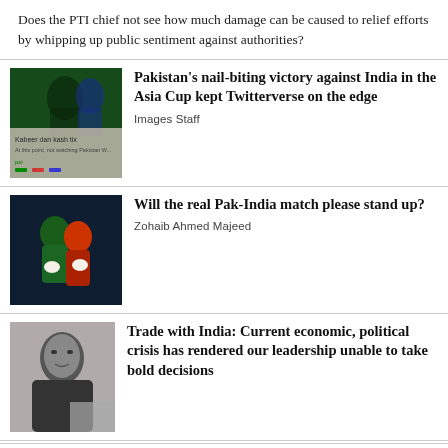Does the PTI chief not see how much damage can be caused to relief efforts by whipping up public sentiment against authorities?
[Figure (photo): Cricket players, Pakistan vs India Asia Cup match, with social media screenshot overlay]
Pakistan's nail-biting victory against India in the Asia Cup kept Twitterverse on the edge
Images Staff
[Figure (photo): Two cricket players embracing or in close contact on the field during Pak-India match]
Will the real Pak-India match please stand up?
Zohaib Ahmed Majeed
[Figure (photo): Black and white portrait photo of a man in a suit]
Trade with India: Current economic, political crisis has rendered our leadership unable to take bold decisions
[Figure (photo): Flood scene with trees and water]
Devastating floods wash away a family's